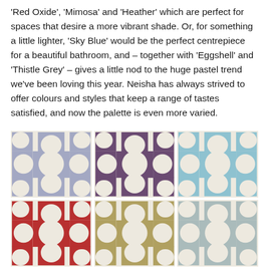'Red Oxide', 'Mimosa' and 'Heather' which are perfect for spaces that desire a more vibrant shade. Or, for something a little lighter, 'Sky Blue' would be the perfect centrepiece for a beautiful bathroom, and – together with 'Eggshell' and 'Thistle Grey' – gives a little nod to the huge pastel trend we've been loving this year. Neisha has always strived to offer colours and styles that keep a range of tastes satisfied, and now the palette is even more varied.
[Figure (illustration): Six decorative tiles arranged in a 3x2 grid, each showing a geometric cross/quatrefoil pattern in different colors: top row: lavender/blue-grey, dark purple, light sky blue; bottom row: red oxide, golden/olive, pale blue-grey. Each tile has a cream/off-white background with the colored geometric motif.]